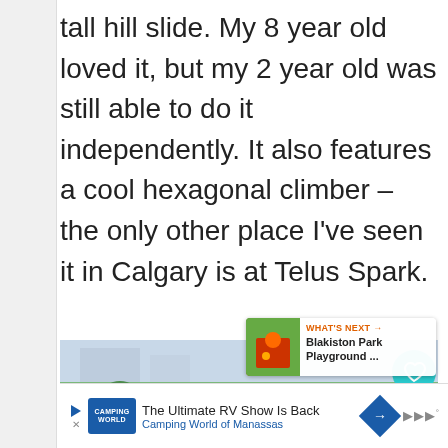tall hill slide. My 8 year old loved it, but my 2 year old was still able to do it independently. It also features a cool hexagonal climber – the only other place I've seen it in Calgary is at Telus Spark.
[Figure (photo): Photo of a playground at an urban park, showing children playing on slides and climbing equipment. Silver/metal playground structures, green grass, and city buildings visible in background. A child in a colorful jacket stands near the slide. Overlaid UI elements: teal heart button with count '27', share button, and 'What's Next' card showing 'Blakiston Park Playground ...' with a thumbnail.]
The Ultimate RV Show Is Back
Camping World of Manassas